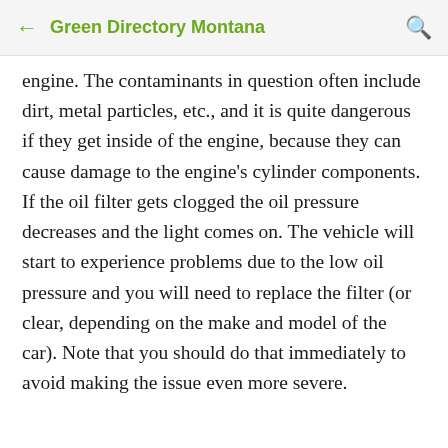Green Directory Montana
engine. The contaminants in question often include dirt, metal particles, etc., and it is quite dangerous if they get inside of the engine, because they can cause damage to the engine's cylinder components. If the oil filter gets clogged the oil pressure decreases and the light comes on. The vehicle will start to experience problems due to the low oil pressure and you will need to replace the filter (or clear, depending on the make and model of the car). Note that you should do that immediately to avoid making the issue even more severe.